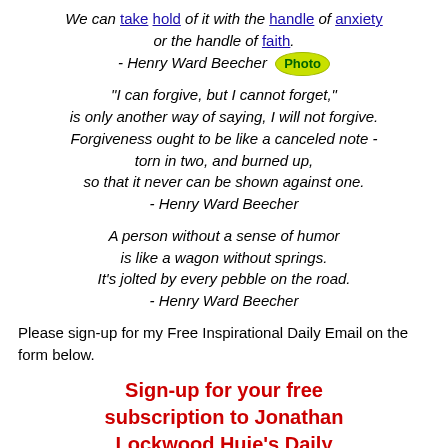We can take hold of it with the handle of anxiety or the handle of faith. - Henry Ward Beecher [Photo]
"I can forgive, but I cannot forget," is only another way of saying, I will not forgive. Forgiveness ought to be like a canceled note - torn in two, and burned up, so that it never can be shown against one. - Henry Ward Beecher
A person without a sense of humor is like a wagon without springs. It's jolted by every pebble on the road. - Henry Ward Beecher
Please sign-up for my Free Inspirational Daily Email on the form below.
Sign-up for your free subscription to Jonathan Lockwood Huie's Daily